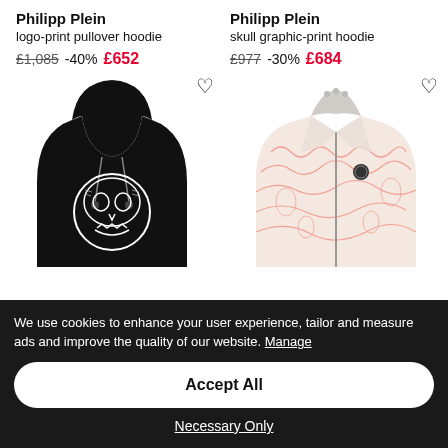Philipp Plein
logo-print pullover hoodie
Philipp Plein
skull graphic-print hoodie
£1,085 -40% £652
£977 -30% £684
[Figure (photo): Black Philipp Plein skull-print pullover hoodie on white background]
[Figure (photo): White/orange floral Philipp Plein graphic zip hoodie on white background]
We use cookies to enhance your user experience, tailor and measure ads and improve the quality of our website. Manage
Accept All
Necessary Only